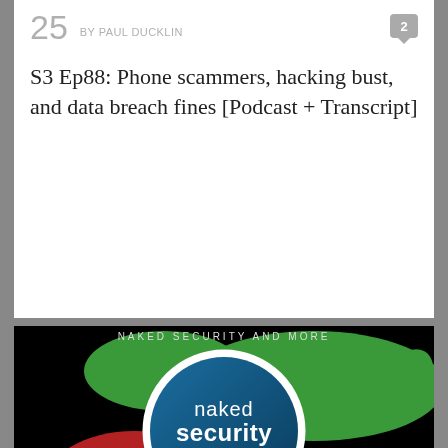25 BY PAUL DUCKLIN
S3 Ep88: Phone scammers, hacking bust, and data breach fines [Podcast + Transcript]
[Figure (photo): Naked Security Podcast logo with green and red panthers on black background, circular badge with 'naked security PODCAST' text and microphone icon]
AUG
11 BY PAUL DUCKLIN
S3 Ep95: Slack leak, Github onslaught, and post-quantum crypto [Audio + Text]